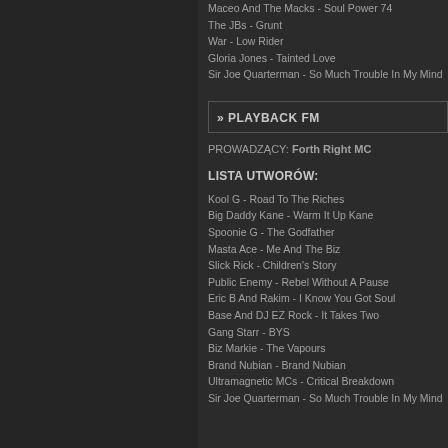Maceo And The Macks - Soul Power 74
The JBs - Grunt
War - Low Rider
Gloria Jones - Tainted Love
Sir Joe Quarterman - So Much Trouble In My Mind
» PLAYBACK FM
PROWADZĄCY: Forth Right MC
LISTA UTWORÓW:
Kool G - Road To The Riches
Big Daddy Kane - Warm It Up Kane
Spoonie G - The Godfather
Masta Ace - Me And The Biz
Slick Rick - Children's Story
Public Enemy - Rebel Without A Pause
Eric B And Rakim - I Know You Got Soul
Base And DJ EZ Rock - It Takes Two
Gang Starr - BYS
Biz Markie - The Vapours
Brand Nubian - Brand Nubian
Ultramagnetic MCs - Critical Breakdown
Sir Joe Quarterman - So Much Trouble In My Mind